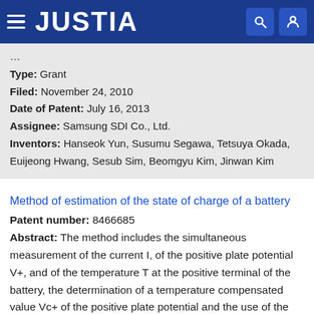JUSTIA
Type: Grant
Filed: November 24, 2010
Date of Patent: July 16, 2013
Assignee: Samsung SDI Co., Ltd.
Inventors: Hanseok Yun, Susumu Segawa, Tetsuya Okada, Euijeong Hwang, Sesub Sim, Beomgyu Kim, Jinwan Kim
Method of estimation of the state of charge of a battery
Patent number: 8466685
Abstract: The method includes the simultaneous measurement of the current I, of the positive plate potential V+, and of the temperature T at the positive terminal of the battery, the determination of a temperature compensated value Vc+ of the positive plate potential and the use of the temperature